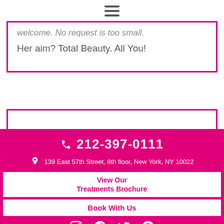[Figure (other): Hamburger menu icon (three horizontal lines)]
welcome. No request is too small. Her aim? Total Beauty. All You!
Request Your Consultation Today
212-397-0111
139 East 57th Street, 8th floor, New York, NY 10022
View Our Treatments Brochure
Book With Us
[Figure (other): Social media icons: Instagram, Facebook, Twitter, Pinterest]